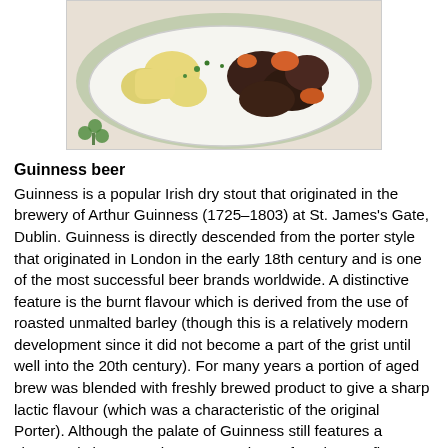[Figure (photo): A plate of Irish stew with chunks of meat, potatoes, and carrots garnished with fresh herbs on a white plate with a green rim.]
Guinness beer
Guinness is a popular Irish dry stout that originated in the brewery of Arthur Guinness (1725–1803) at St. James's Gate, Dublin. Guinness is directly descended from the porter style that originated in London in the early 18th century and is one of the most successful beer brands worldwide. A distinctive feature is the burnt flavour which is derived from the use of roasted unmalted barley (though this is a relatively modern development since it did not become a part of the grist until well into the 20th century). For many years a portion of aged brew was blended with freshly brewed product to give a sharp lactic flavour (which was a characteristic of the original Porter). Although the palate of Guinness still features a characteristic "tang", the company has refused to confirm whether this type of blending still occurs. The thick creamy head is the result of the beer being mixed with nitrogen when being poured. It is popular with Irish people both in Ireland and abroad and, in spite of a